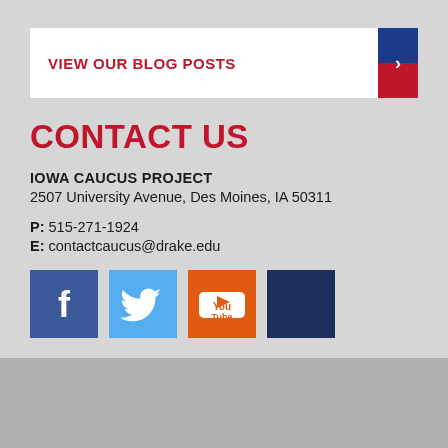VIEW OUR BLOG POSTS
CONTACT US
IOWA CAUCUS PROJECT
2507 University Avenue, Des Moines, IA 50311
P: 515-271-1924
E: contactcaucus@drake.edu
[Figure (infographic): Social media icons: Facebook (blue), Twitter (light blue), YouTube (orange-red), and a fourth dark blue icon]
Des Moines, Iowa Web Design by Webspec Design